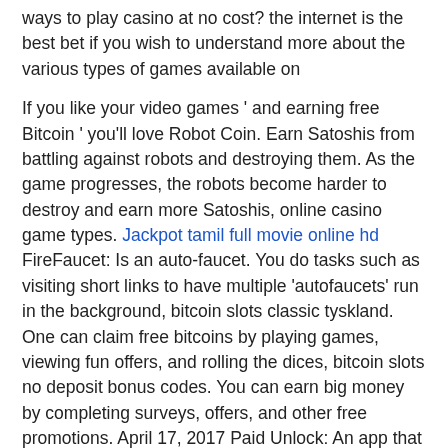ways to play casino at no cost? the internet is the best bet if you wish to understand more about the various types of games available on
If you like your video games ' and earning free Bitcoin ' you'll love Robot Coin. Earn Satoshis from battling against robots and destroying them. As the game progresses, the robots become harder to destroy and earn more Satoshis, online casino game types. Jackpot tamil full movie online hd FireFaucet: Is an auto-faucet. You do tasks such as visiting short links to have multiple 'autofaucets' run in the background, bitcoin slots classic tyskland. One can claim free bitcoins by playing games, viewing fun offers, and rolling the dices, bitcoin slots no deposit bonus codes. You can earn big money by completing surveys, offers, and other free promotions. April 17, 2017 Paid Unlock: An app that pays you to unlock your phone, bitcoin slots with free no deposit bonus. April 17, 2017 Mining with Miner